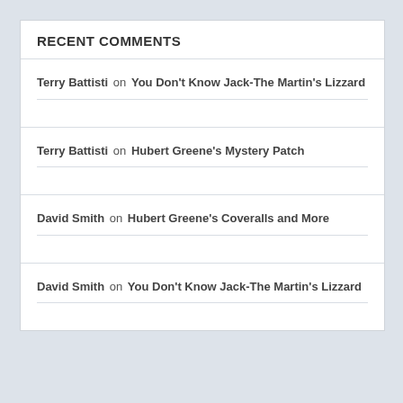RECENT COMMENTS
Terry Battisti on You Don't Know Jack-The Martin's Lizzard
Terry Battisti on Hubert Greene's Mystery Patch
David Smith on Hubert Greene's Coveralls and More
David Smith on You Don't Know Jack-The Martin's Lizzard